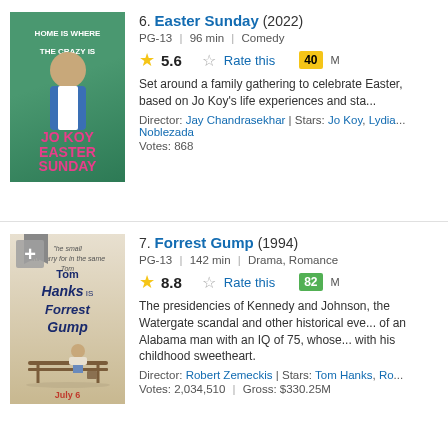[Figure (photo): Movie poster for Easter Sunday (2022) featuring Jo Koy]
6. Easter Sunday (2022)
PG-13 | 96 min | Comedy
5.6  Rate this  40
Set around a family gathering to celebrate Easter, based on Jo Koy's life experiences and sta...
Director: Jay Chandrasekhar | Stars: Jo Koy, Lydia... Noblezada
Votes: 868
[Figure (photo): Movie poster for Forrest Gump (1994) featuring Tom Hanks sitting on a bench]
7. Forrest Gump (1994)
PG-13 | 142 min | Drama, Romance
8.8  Rate this  82
The presidencies of Kennedy and Johnson, the Vietnam War, the Watergate scandal and other historical eve... of an Alabama man with an IQ of 75, whose... with his childhood sweetheart.
Director: Robert Zemeckis | Stars: Tom Hanks, Ro...
Votes: 2,034,510 | Gross: $330.25M